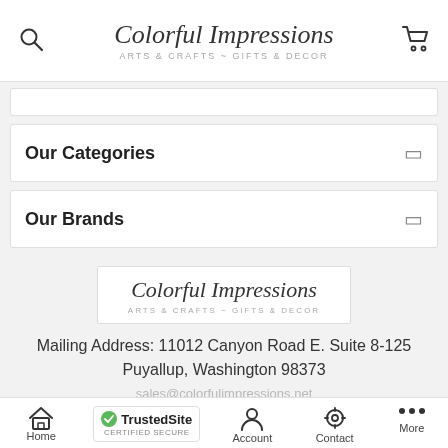[Figure (screenshot): Colorful Impressions website header with logo, search icon, and cart icon]
Our Categories
Our Brands
[Figure (logo): Colorful Impressions logo box with text ARTS & CRAFTS ~ GIFTS & DECOR]
Mailing Address: 11012 Canyon Road E. Suite 8-125
Puyallup, Washington 98373
sales@colorfulimpressions.net
ADD TO CART
Home | TrustedSite CERTIFIED SECURE | Account | Contact | More